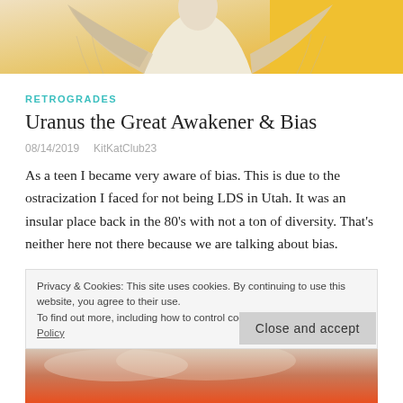[Figure (photo): Top portion of a stone angel or classical statue with wings, against a yellow/orange background. Only the upper body and wings visible.]
RETROGRADES
Uranus the Great Awakener & Bias
08/14/2019   KitKatClub23
As a teen I became very aware of bias. This is due to the ostracization I faced for not being LDS in Utah. It was an insular place back in the 80’s with not a ton of diversity. That’s neither here not there because we are talking about bias.
Privacy & Cookies: This site uses cookies. By continuing to use this website, you agree to their use.
To find out more, including how to control cookies, see here: Cookie Policy
Close and accept
[Figure (photo): Bottom portion of an image, showing an orange/red sky or clouds, partially visible.]